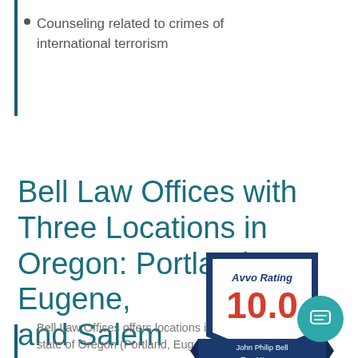Counseling related to crimes of international terrorism
Bell Law Offices with Three Locations in Oregon: Portland, Eugene, and Salem
[Figure (logo): Avvo Rating badge showing 10.0 rating for John Philip Bell, Top Attorney]
Bell Law Offices offers locations in state of Oregon (Portland, Eugene, and Salem) ...